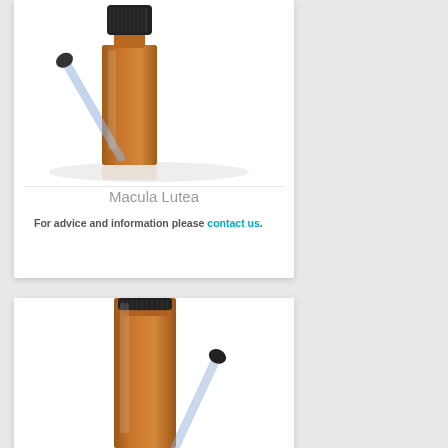[Figure (photo): Amber dropper bottle with black cap and glass dropper pipette, photographed on white background with reflection]
Macula Lutea
For advice and information please contact us.
[Figure (photo): Amber glass dropper bottle with black cap, partially visible, photographed on white background]